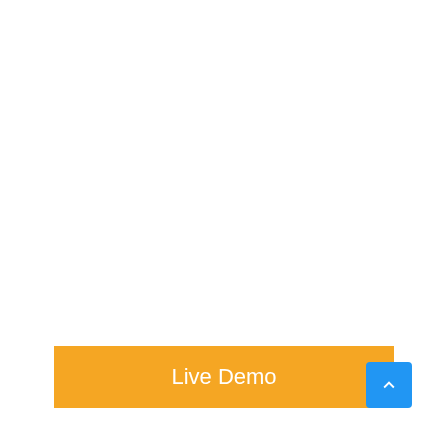[Figure (screenshot): Large mostly white/blank area occupying the majority of the page]
Live Demo
[Figure (other): Blue scroll-to-top button with upward chevron arrow in bottom-right corner]